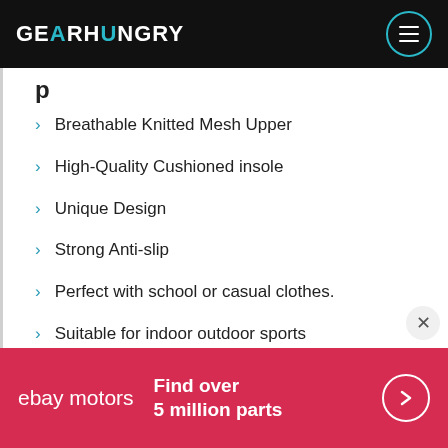GEARHUNGRY
Breathable Knitted Mesh Upper
High-Quality Cushioned insole
Unique Design
Strong Anti-slip
Perfect with school or casual clothes.
Suitable for indoor outdoor sports
Specification:
[Figure (other): eBay Motors advertisement banner: 'Find over 5 million parts' with arrow button]